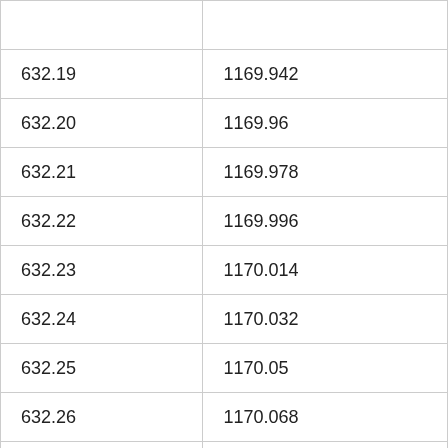| 632.19 | 1169.942 |
| 632.20 | 1169.96 |
| 632.21 | 1169.978 |
| 632.22 | 1169.996 |
| 632.23 | 1170.014 |
| 632.24 | 1170.032 |
| 632.25 | 1170.05 |
| 632.26 | 1170.068 |
| 632.27 | 1170.086 |
| 632.28 | 1170.104 |
| 632.29 | 1170.122 |
| 632.30 | 1170.14 |
| 632.31 | 1170.158 |
| 632.32 | 1170.176 |
| 632.33 | 1170.194 |